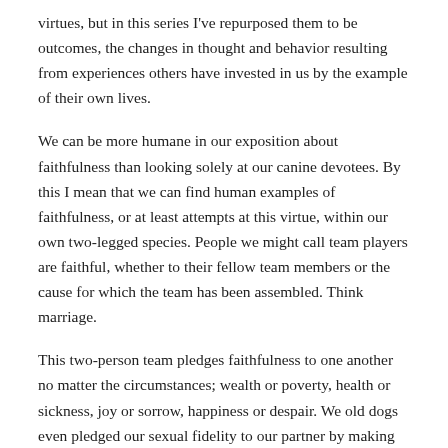virtues, but in this series I've repurposed them to be outcomes, the changes in thought and behavior resulting from experiences others have invested in us by the example of their own lives.
We can be more humane in our exposition about faithfulness than looking solely at our canine devotees. By this I mean that we can find human examples of faithfulness, or at least attempts at this virtue, within our own two-legged species. People we might call team players are faithful, whether to their fellow team members or the cause for which the team has been assembled. Think marriage.
This two-person team pledges faithfulness to one another no matter the circumstances; wealth or poverty, health or sickness, joy or sorrow, happiness or despair. We old dogs even pledged our sexual fidelity to our partner by making the commitment to forsake all others, a declaration often missing from today's wedding vows – a hedge indicating faithfulness may have its limits.
We are a situational people. Ethics, morals (if you allow for them), and